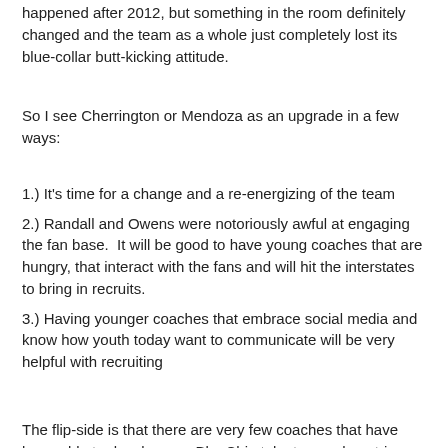happened after 2012, but something in the room definitely changed and the team as a whole just completely lost its blue-collar butt-kicking attitude.
So I see Cherrington or Mendoza as an upgrade in a few ways:
1.) It's time for a change and a re-energizing of the team
2.) Randall and Owens were notoriously awful at engaging the fan base.  It will be good to have young coaches that are hungry, that interact with the fans and will hit the interstates to bring in recruits.
3.) Having younger coaches that embrace social media and know how youth today want to communicate will be very helpful with recruiting
The flip-side is that there are very few coaches that have been able to develop non-BlueChip talent on a shoestring budget the way that Randall and Owens have. So it's food for thought, and the conversation is ongoing.